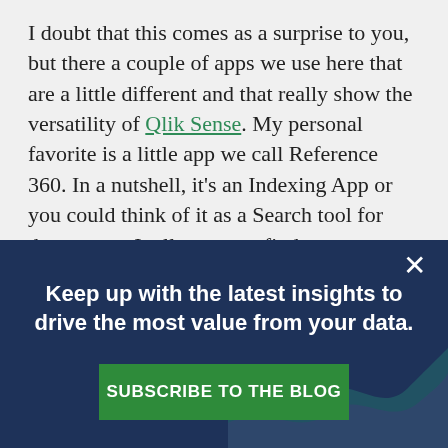I doubt that this comes as a surprise to you, but there a couple of apps we use here that are a little different and that really show the versatility of Qlik Sense. My personal favorite is a little app we call Reference 360. In a nutshell, it's an Indexing App or you could think of it as a Search tool for documents. It allows us to find a
[Figure (other): Modal popup overlay with dark navy background showing: close button (X) in top right, bold white text 'Keep up with the latest insights to drive the most value from your data.', a green 'SUBSCRIBE TO THE BLOG' button, and decorative wave graphic in background.]